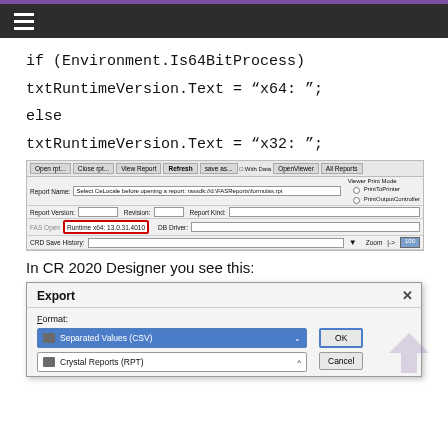≡
if (Environment.Is64BitProcess)
txtRuntimeVersion.Text = "x64: ";
else
txtRuntimeVersion.Text = "x32: ";
[Figure (screenshot): Screenshot of a Crystal Reports viewer toolbar showing Report Name, Runtime x64: 13.0.31.4010 field highlighted with red border, DB Driver, Zoom controls]
In CR 2020 Designer you see this:
[Figure (screenshot): Screenshot of an Export dialog box with Format dropdown showing Separated Values (CSV) selected, Crystal Reports (RPT) option below, OK button, and Cancel button partially visible]